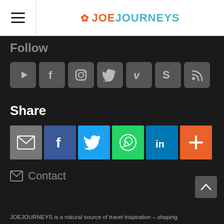≡ JOE JOURNEYS
Follow
[Figure (infographic): Row of 7 social media icons (YouTube, Facebook, Instagram, Twitter, Vimeo, Snapchat, RSS) in dark grey rounded squares]
Share
[Figure (infographic): Row of 6 share buttons: email (grey), Facebook (blue), Twitter (light blue), WhatsApp (green), LinkedIn (blue), More/Plus (orange)]
✉ Contact
JOEJOURNEYS is a natural source of travel inspiration – shaping